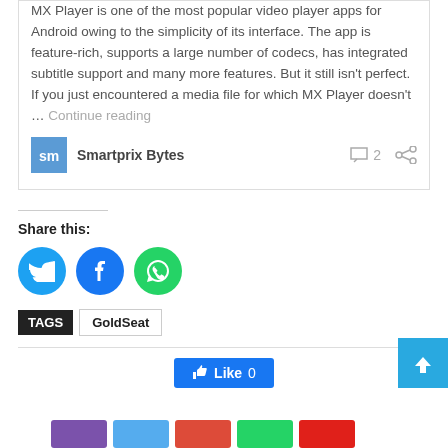MX Player is one of the most popular video player apps for Android owing to the simplicity of its interface. The app is feature-rich, supports a large number of codecs, has integrated subtitle support and many more features. But it still isn't perfect. If you just encountered a media file for which MX Player doesn't … Continue reading
Smartprix Bytes
Share this:
[Figure (logo): Twitter share button circle blue]
[Figure (logo): Facebook share button circle blue]
[Figure (logo): WhatsApp share button circle green]
TAGS GoldSeat
[Figure (screenshot): Facebook Like button showing 0 likes]
[Figure (screenshot): Back to top button, light blue arrow]